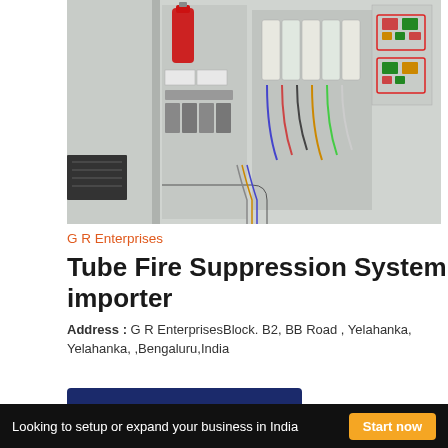[Figure (photo): Open industrial electrical control panel with wiring, circuit breakers, and components including a red fire suppression cylinder]
G R Enterprises
Tube Fire Suppression System importer
Address : G R EnterprisesBlock. B2, BB Road , Yelahanka, Yelahanka, ,Bengaluru,India
Contact importer
Looking to setup or expand your business in India  Start now